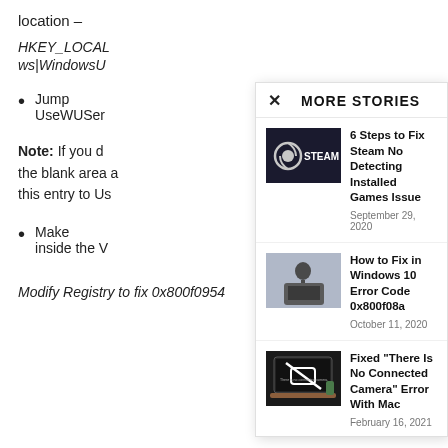location –
HKEY_LOCAL...
ws|WindowsU...
Jump ... UseWUSer...
Note: If you d... the blank area ... this entry to Us...
Make ... inside the V...
Modify Registry to fix 0x800f0954
[Figure (screenshot): More Stories overlay panel with three article links: '6 Steps to Fix Steam No Detecting Installed Games Issue' (September 29, 2020), 'How to Fix in Windows 10 Error Code 0x800f08a' (October 11, 2020), 'Fixed There Is No Connected Camera Error With Mac' (February 16, 2021)]